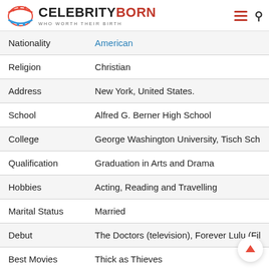CELEBRITYBORN WHO WORTH THEIR BIRTH
| Field | Value |
| --- | --- |
| Nationality | American |
| Religion | Christian |
| Address | New York, United States. |
| School | Alfred G. Berner High School |
| College | George Washington University, Tisch Sch |
| Qualification | Graduation in Arts and Drama |
| Hobbies | Acting, Reading and Travelling |
| Marital Status | Married |
| Debut | The Doctors (television), Forever Lulu (Fil |
| Best Movies | Thick as Thieves |
| Net Worth | $60 Million |